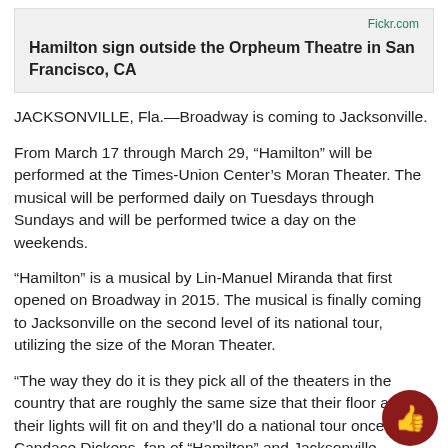Hamilton sign outside the Orpheum Theatre in San Francisco, CA
JACKSONVILLE, Fla.—Broadway is coming to Jacksonville.
From March 17 through March 29, “Hamilton” will be performed at the Times-Union Center’s Moran Theater. The musical will be performed daily on Tuesdays through Sundays and will be performed twice a day on the weekends.
“Hamilton” is a musical by Lin-Manuel Miranda that first opened on Broadway in 2015. The musical is finally coming to Jacksonville on the second level of its national tour, utilizing the size of the Moran Theater.
“The way they do it is they pick all of the theaters in the country that are roughly the same size that their floor and their lights will fit on and they’ll do a national tour once,” said Candace Dickens, fan of “Hamilton” and Jacksonville University student with an interest in design. “Then they’ll do a second national tour and typically they go to